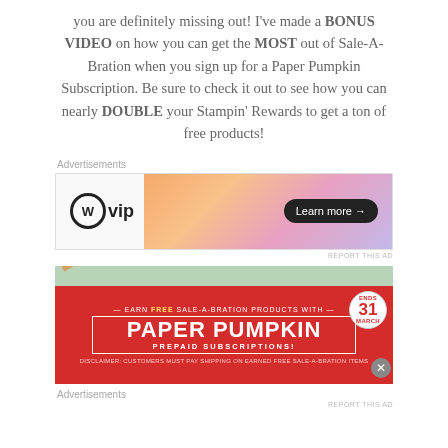you are definitely missing out! I've made a BONUS VIDEO on how you can get the MOST out of Sale-A-Bration when you sign up for a Paper Pumpkin Subscription. Be sure to check it out to see how you can nearly DOUBLE your Stampin' Rewards to get a ton of free products!
Advertisements
[Figure (screenshot): WordPress VIP advertisement banner with gradient orange-pink background and 'Learn more →' button]
REPORT THIS AD
[Figure (screenshot): Paper Pumpkin prepaid subscriptions ad on red background. Text: EARN FREE SALE-A-BRATION PRODUCTS WITH PAPER PUMPKIN PREPAID SUBSCRIPTIONS! ENDS 31 MARCH badge. DISCLAIMER: CUSTOMERS MUST PAY SHIPPING ON EARNED FREE SALE-A-BRATION ITEMS]
Advertisements
REPORT THIS AD